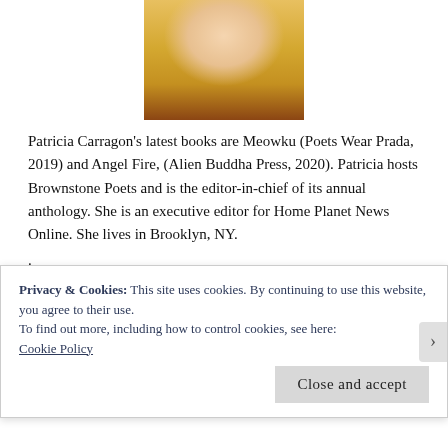[Figure (photo): Photo of a woman with light hair wearing a yellow jacket, cropped to show upper body, centered at top of page]
Patricia Carragon's latest books are Meowku (Poets Wear Prada, 2019) and Angel Fire, (Alien Buddha Press, 2020). Patricia hosts Brownstone Poets and is the editor-in-chief of its annual anthology. She is an executive editor for Home Planet News Online. She lives in Brooklyn, NY.
.
We by Louis Faber
.
We fled the ghettos
Privacy & Cookies: This site uses cookies. By continuing to use this website, you agree to their use.
To find out more, including how to control cookies, see here:
Cookie Policy
Close and accept